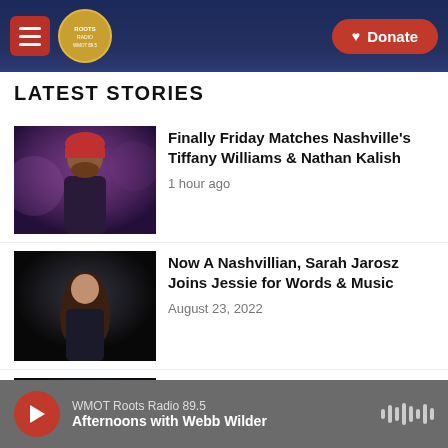WMOT Roots Radio — Hamburger menu, Logo, Donate button
LATEST STORIES
[Figure (photo): Article thumbnail showing a bearded man in a red beanie hat, artistic purple-toned photo]
Finally Friday Matches Nashville's Tiffany Williams & Nathan Kalish
1 hour ago
[Figure (photo): Article thumbnail showing a woman with long brown hair against a dark background]
Now A Nashvillian, Sarah Jarosz Joins Jessie for Words & Music
August 23, 2022
[Figure (photo): Article thumbnail showing a man smiling in a dark shirt against a dark misty background]
Taylor Alexander Is Vulnerable, Personal and Relatable on His Sophomore Release, Hymns For A Hollow Earth
WMOT Roots Radio 89.5 — Afternoons with Webb Wilder